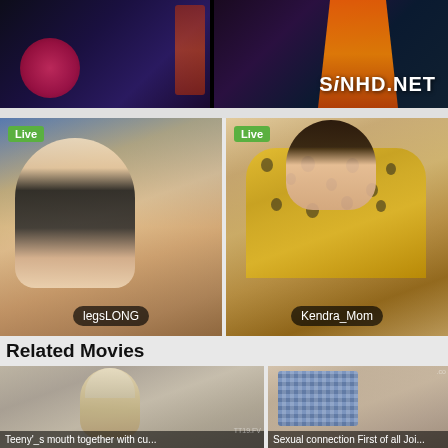[Figure (screenshot): Top banner showing dark video screenshot with SiNHD.NET watermark and orange-clad figure]
[Figure (screenshot): Live webcam thumbnail - blonde woman labeled legsLONG with Live badge]
[Figure (screenshot): Live webcam thumbnail - dark-haired woman in leopard print labeled Kendra_Mom with Live badge]
Related Movies
[Figure (screenshot): Related movie thumbnail - Teeny'_s mouth together with cu...]
[Figure (screenshot): Related movie thumbnail - Sexual connection First of all Joi...]